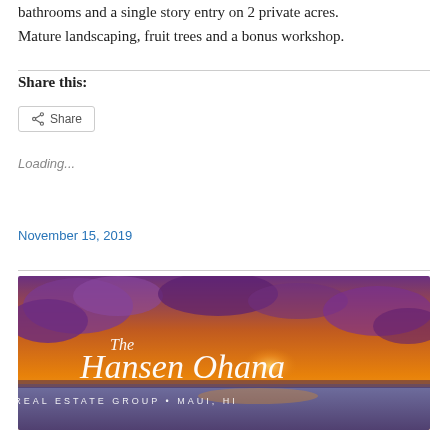bathrooms and a single story entry on 2 private acres. Mature landscaping, fruit trees and a bonus workshop.
Share this:
Share
Loading...
November 15, 2019
[Figure (logo): The Hansen Ohana Real Estate Group, Maui, HI banner with sunset background]